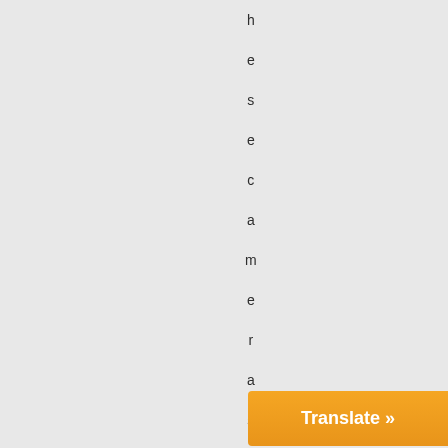h e s e c a m e r a s a f f o r d a b l e . e
Translate »